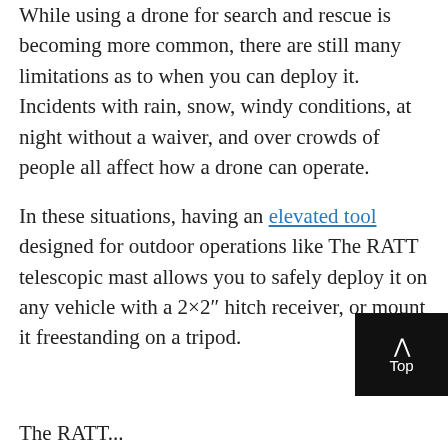While using a drone for search and rescue is becoming more common, there are still many limitations as to when you can deploy it. Incidents with rain, snow, windy conditions, at night without a waiver, and over crowds of people all affect how a drone can operate.
In these situations, having an elevated tool designed for outdoor operations like The RATT telescopic mast allows you to safely deploy it on any vehicle with a 2×2″ hitch receiver, or mount it freestanding on a tripod.
The RATT...